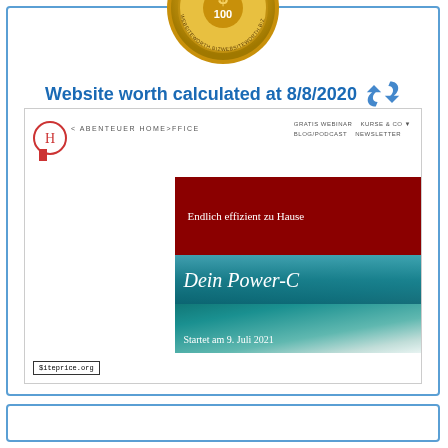[Figure (illustration): Gold coin/seal badge with text WEBSITE WORTH and $100 in center]
Website worth calculated at 8/8/2020
[Figure (screenshot): Screenshot of abenteuer-homeoffice.de website showing navigation bar, red banner with 'Endlich effizient zu Hause', wave image with 'Dein Power-C' and 'Startet am 9. Juli 2021', and $iteprice.org watermark]